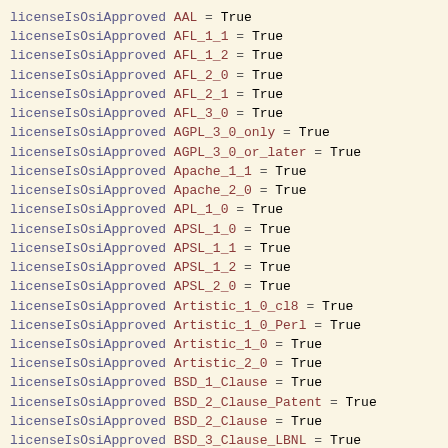licenseIsOsiApproved AAL = True
licenseIsOsiApproved AFL_1_1 = True
licenseIsOsiApproved AFL_1_2 = True
licenseIsOsiApproved AFL_2_0 = True
licenseIsOsiApproved AFL_2_1 = True
licenseIsOsiApproved AFL_3_0 = True
licenseIsOsiApproved AGPL_3_0_only = True
licenseIsOsiApproved AGPL_3_0_or_later = True
licenseIsOsiApproved Apache_1_1 = True
licenseIsOsiApproved Apache_2_0 = True
licenseIsOsiApproved APL_1_0 = True
licenseIsOsiApproved APSL_1_0 = True
licenseIsOsiApproved APSL_1_1 = True
licenseIsOsiApproved APSL_1_2 = True
licenseIsOsiApproved APSL_2_0 = True
licenseIsOsiApproved Artistic_1_0_cl8 = True
licenseIsOsiApproved Artistic_1_0_Perl = True
licenseIsOsiApproved Artistic_1_0 = True
licenseIsOsiApproved Artistic_2_0 = True
licenseIsOsiApproved BSD_1_Clause = True
licenseIsOsiApproved BSD_2_Clause_Patent = True
licenseIsOsiApproved BSD_2_Clause = True
licenseIsOsiApproved BSD_3_Clause_LBNL = True
licenseIsOsiApproved BSD_3_Clause = True
licenseIsOsiApproved BSL_1_0 = True
licenseIsOsiApproved CAL_1_0_Combined_Work_Exception = True
licenseIsOsiApproved CAL_1_0 = True
licenseIsOsiApproved CATOSL_1_1 = True
licenseIsOsiApproved CDDL_1_0 = True
licenseIsOsiApproved CECILL_2_1 = True